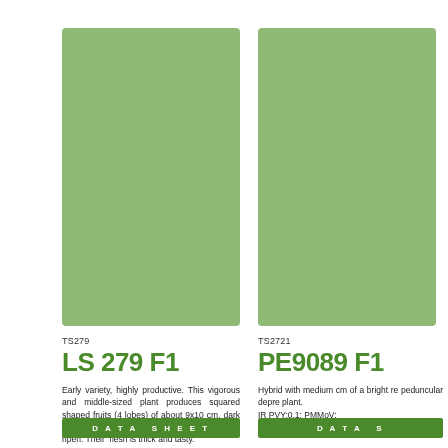[Figure (photo): Green colored square swatch for LS 279 F1 pepper variety]
TS279
LS 279 F1
Early variety, highly productive. This vigorous and middle-sized plant produces squared shaped fruits (4 lobes) of about 9x10 cm, dark green in colour, turning bright red when they ripen. Their flesh is thick and tasty.
DATA SHEET
[Figure (photo): Green colored square swatch for PE9089 F1 pepper variety]
TS2721
PE9089 F1
Hybrid with medium cm of a bright re peduncular depre plant. IR PVY:0,1; PMMoV:
DATA S